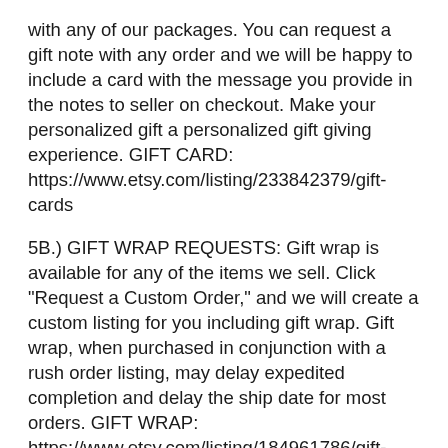with any of our packages. You can request a gift note with any order and we will be happy to include a card with the message you provide in the notes to seller on checkout. Make your personalized gift a personalized gift giving experience. GIFT CARD: https://www.etsy.com/listing/233842379/gift-cards
5B.) GIFT WRAP REQUESTS: Gift wrap is available for any of the items we sell. Click "Request a Custom Order," and we will create a custom listing for you including gift wrap. Gift wrap, when purchased in conjunction with a rush order listing, may delay expedited completion and delay the ship date for most orders. GIFT WRAP: https://www.etsy.com/listing/184961786/gift-wrap
*NOTE* Due to the natural characteristics of wood, color variations, wood grain, knots, and other flaws that are inherent will vary from item to item. These characteristics will be present on every wood item we sell and once personalized the products are non-refundable.
Not sure what to do, click ASK A QUESTION or REQUEST A